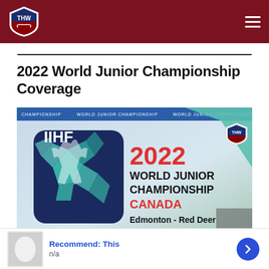THW - The Hockey Writers
2022 World Junior Championship Coverage
[Figure (illustration): IIHF 2022 World Junior Championship banner image. Dark navy background with geometric crystal/ice shapes and a hockey player silhouette. Text reads: CHAMPIONSHIP WORLD JUNIOR CHAMPIONSHIP WORLD JUNIOR CHAMPIONSHIP. THW logo in top right. Large text: IIHF 2022 WORLD JUNIOR CHAMPIONSHIP CANADA Edmonton - Red Deer.]
Recommend: This
n/a